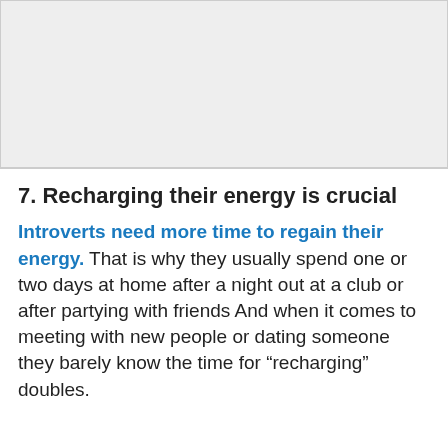[Figure (other): Gray placeholder image area at the top of the page]
7. Recharging their energy is crucial
Introverts need more time to regain their energy. That is why they usually spend one or two days at home after a night out at a club or after partying with friends And when it comes to meeting with new people or dating someone they barely know the time for “recharging” doubles.